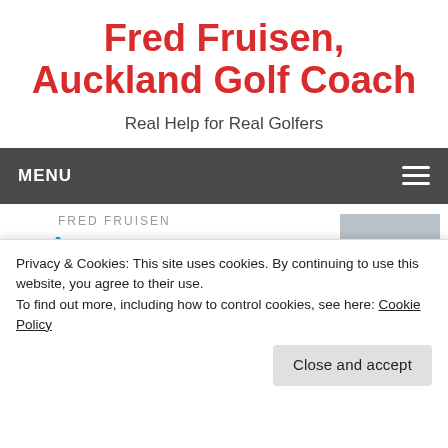Fred Fruisen, Auckland Golf Coach
Real Help for Real Golfers
MENU
[Figure (logo): Fred Fruisen Coach logo with blue COACH text and a dot-slash graphic, alongside a photo of a man in a white cap]
Privacy & Cookies: This site uses cookies. By continuing to use this website, you agree to their use.
To find out more, including how to control cookies, see here: Cookie Policy
Close and accept